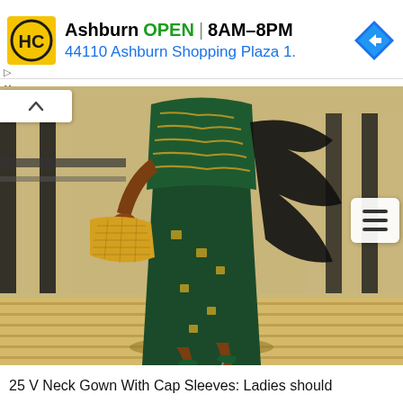[Figure (other): Advertisement banner for HC hardware store in Ashburn showing logo, OPEN status, hours 8AM-8PM, and address 44110 Ashburn Shopping Plaza 1., with a blue navigation arrow icon]
[Figure (photo): Fashion photo of a woman wearing a dark green/emerald African-style gown with gold chain embroidery and embellishments, a black ruffled cape/jacket, holding a yellow woven clutch bag, wearing green heeled shoes, walking on a wooden boardwalk]
25 V Neck Gown With Cap Sleeves: Ladies should